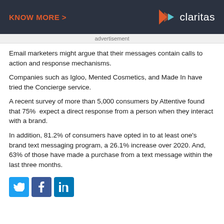[Figure (logo): Claritas advertisement banner with 'KNOW MORE >' text on left and Claritas logo on right, dark background]
advertisement
Email marketers might argue that their messages contain calls to action and response mechanisms.
Companies such as Igloo, Mented Cosmetics, and Made In have tried the Concierge service.
A recent survey of more than 5,000 consumers by Attentive found that 75%  expect a direct response from a person when they interact with a brand.
In addition, 81.2% of consumers have opted in to at least one's brand text messaging program, a 26.1% increase over 2020. And, 63% of those have made a purchase from a text message within the last three months.
[Figure (illustration): Social media share buttons: Twitter (blue bird), Facebook (blue f), LinkedIn (blue in)]